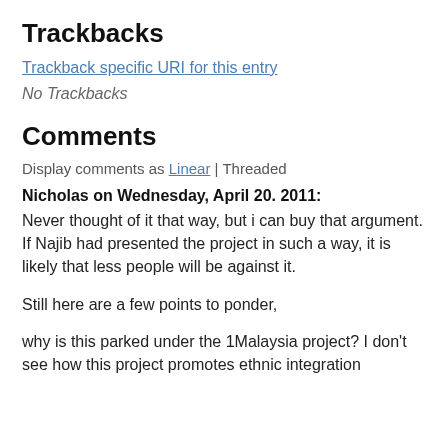Trackbacks
Trackback specific URI for this entry
No Trackbacks
Comments
Display comments as Linear | Threaded
Nicholas on Wednesday, April 20. 2011:
Never thought of it that way, but i can buy that argument. If Najib had presented the project in such a way, it is likely that less people will be against it.
Still here are a few points to ponder,
why is this parked under the 1Malaysia project? I don't see how this project promotes ethnic integration